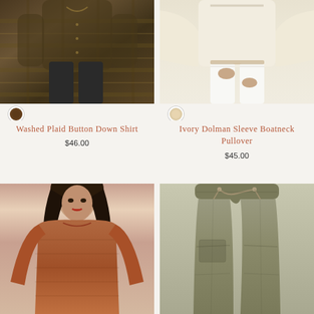[Figure (photo): Woman wearing a washed plaid button down shirt in dark olive/brown tones with dark pants, cropped at mid-torso]
[Figure (photo): Woman wearing an ivory dolman sleeve boatneck pullover with white jeans, cropped at mid-torso showing hands]
Washed Plaid Button Down Shirt
$46.00
Ivory Dolman Sleeve Boatneck Pullover
$45.00
[Figure (photo): Woman with dark hair wearing a rust/terracotta long sleeve sweater, portrait style]
[Figure (photo): Olive/sage green jogger pants with drawstring waist and patch pocket, shown on mannequin or model]